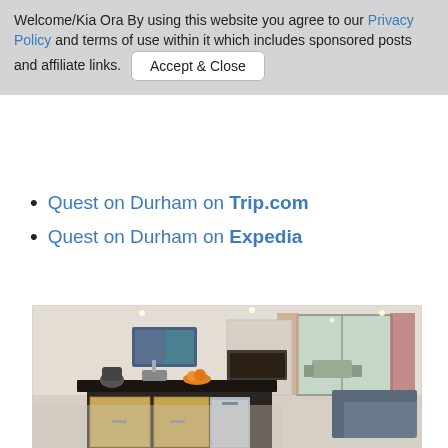Welcome/Kia Ora By using this website you agree to our Privacy Policy and terms of use within it which includes sponsored posts and affiliate links. Accept & Close
Quest on Durham on Trip.com
Quest on Durham on Expedia
[Figure (photo): Interior photo of a modern apartment showing an open-plan kitchen with a dark countertop island, light wood cabinets, a kettle, sink, and dishwasher. In the background there is a dining area, sliding glass doors to a balcony with outdoor furniture, sheer and patterned curtains, and a grey sofa on the right side.]